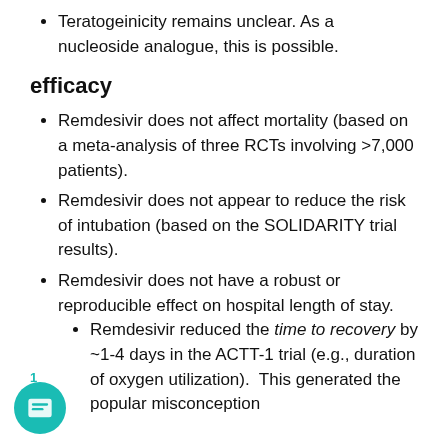Teratogeinicity remains unclear. As a nucleoside analogue, this is possible.
efficacy
Remdesivir does not affect mortality (based on a meta-analysis of three RCTs involving >7,000 patients).
Remdesivir does not appear to reduce the risk of intubation (based on the SOLIDARITY trial results).
Remdesivir does not have a robust or reproducible effect on hospital length of stay.
Remdesivir reduced the time to recovery by ~1-4 days in the ACTT-1 trial (e.g., duration of oxygen utilization). This generated the popular misconception